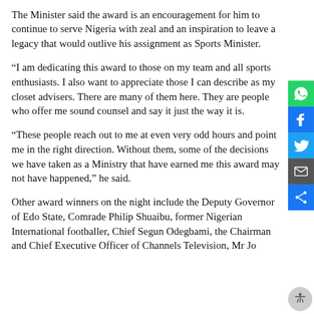The Minister said the award is an encouragement for him to continue to serve Nigeria with zeal and an inspiration to leave a legacy that would outlive his assignment as Sports Minister.
“I am dedicating this award to those on my team and all sports enthusiasts. I also want to appreciate those I can describe as my closet advisers. There are many of them here. They are people who offer me sound counsel and say it just the way it is.
“These people reach out to me at even very odd hours and point me in the right direction. Without them, some of the decisions we have taken as a Ministry that have earned me this award may not have happened,” he said.
Other award winners on the night include the Deputy Governor of Edo State, Comrade Philip Shuaibu, former Nigerian International footballer, Chief Segun Odegbami, the Chairman and Chief Executive Officer of Channels Television, Mr Jo